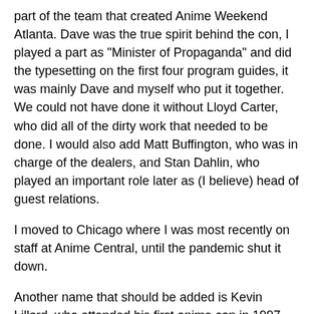part of the team that created Anime Weekend Atlanta. Dave was the true spirit behind the con, I played a part as "Minister of Propaganda" and did the typesetting on the first four program guides, it was mainly Dave and myself who put it together. We could not have done it without Lloyd Carter, who did all of the dirty work that needed to be done. I would also add Matt Buffington, who was in charge of the dealers, and Stan Dahlin, who played an important role later as (I believe) head of guest relations.
I moved to Chicago where I was most recently on staff at Anime Central, until the pandemic shut it down.
Another name that should be added is Kevin Lillard, who attended his first anime con in 1997, and his website "A Fan's View" was one of the tops of its time. I've probably forgotten a few names here, if the conversation continues I might remember them.
At present, several of us get together to talk over old and new times on our Discord Server https://discord.gg/dvMttdW8Mg, Steve Bennett is a frequent chatter, there's also Revell Walker and Kevin Lillard and Walter Amos, to name a few. We meet every